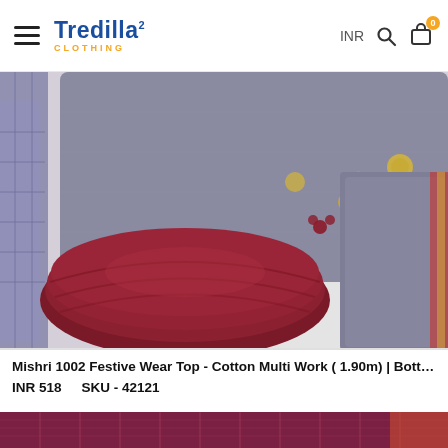Tredilla CLOTHING — INR, Search, Bag (0)
[Figure (photo): Folded fabric pieces including a dark maroon/burgundy plain cotton roll and a grey embroidered fabric with gold floral motifs, placed on a white surface. A purple/lavender fabric is visible on the left side.]
Mishri 1002 Festive Wear Top - Cotton Multi Work ( 1.90m) | Bottom...
INR 518    SKU - 42121
[Figure (photo): Close-up of a pinkish-maroon fabric with woven check/striped pattern, visible at the bottom of the page.]